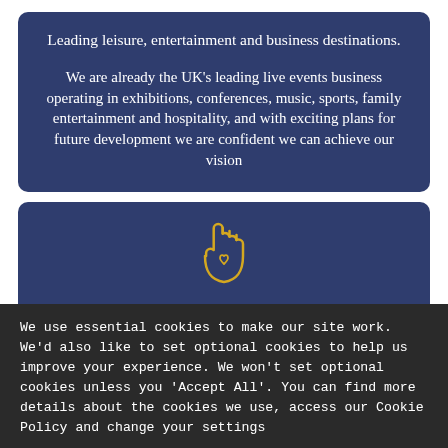Leading leisure, entertainment and business destinations.
We are already the UK's leading live events business operating in exhibitions, conferences, music, sports, family entertainment and hospitality, and with exciting plans for future development we are confident we can achieve our vision
[Figure (illustration): Gold/yellow outline icon of a hand with a heart symbol on the palm, centered in a dark blue card section]
We use essential cookies to make our site work. We'd also like to set optional cookies to help us improve your experience. We won't set optional cookies unless you 'Accept All'. You can find more details about the cookies we use, access our Cookie Policy and change your settings